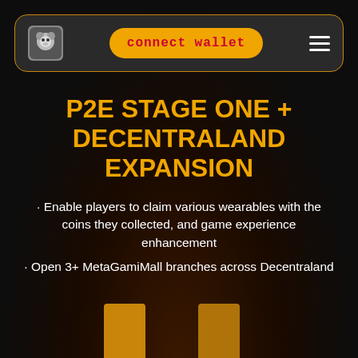[Figure (screenshot): Navigation bar with bear logo, yellow 'connect wallet' button in monospace red text, and hamburger menu icon, on dark rounded rectangle with gold border]
P2E STAGE ONE + DECENTRALAND EXPANSION
· Enable players to claim various wearables with the coins they collected, and game experience enhancement
· Open 3+ MetaGamiMall branches across Decentraland